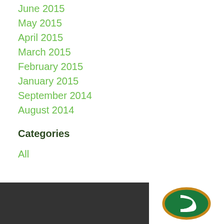June 2015
May 2015
April 2015
March 2015
February 2015
January 2015
September 2014
August 2014
Categories
All
[Figure (logo): Organization logo with green and gold oval emblem on white background in dark footer area]